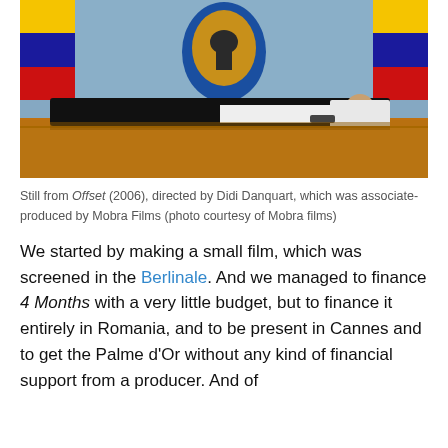[Figure (photo): Still from the film Offset (2006), showing a man in a tuxedo lying on a table in front of a Romanian coat of arms and flags, holding papers and a gun.]
Still from Offset (2006), directed by Didi Danquart, which was associate-produced by Mobra Films (photo courtesy of Mobra films)
We started by making a small film, which was screened in the Berlinale. And we managed to finance 4 Months with a very little budget, but to finance it entirely in Romania, and to be present in Cannes and to get the Palme d'Or without any kind of financial support from a producer. And of